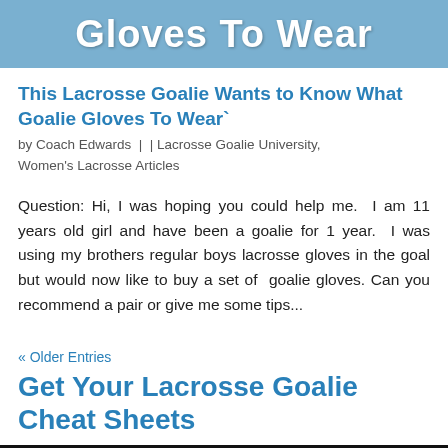[Figure (photo): Top image showing 'Gloves To Wear' text over a blue background with a person in blue clothing]
This Lacrosse Goalie Wants to Know What Goalie Gloves To Wear`
by Coach Edwards  |  | Lacrosse Goalie University, Women's Lacrosse Articles
Question: Hi, I was hoping you could help me.  I am 11 years old girl and have been a goalie for 1 year.  I was using my brothers regular boys lacrosse gloves in the goal but would now like to buy a set of  goalie gloves.  Can you recommend a pair or give me some tips...
« Older Entries
Get Your Lacrosse Goalie Cheat Sheets
[Figure (photo): Bottom black image with white text reading 'The Lacrosse Goalie']